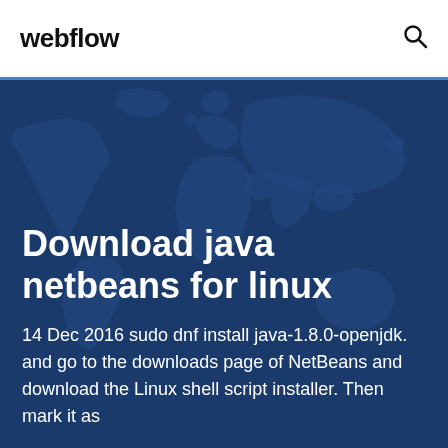webflow
[Figure (illustration): Dark blue background with a world map silhouette in slightly lighter blue]
Download java netbeans for linux
14 Dec 2016 sudo dnf install java-1.8.0-openjdk. and go to the downloads page of NetBeans and download the Linux shell script installer. Then mark it as